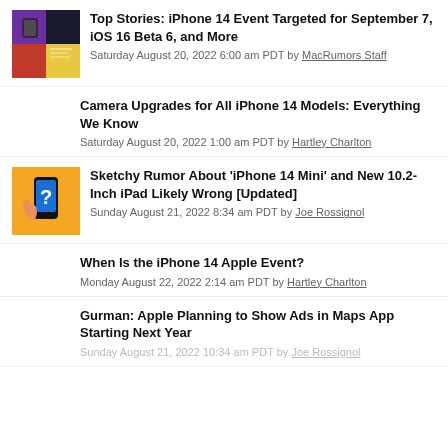Top Stories: iPhone 14 Event Targeted for September 7, iOS 16 Beta 6, and More
Saturday August 20, 2022 6:00 am PDT by MacRumors Staff
Camera Upgrades for All iPhone 14 Models: Everything We Know
Saturday August 20, 2022 1:00 am PDT by Hartley Charlton
Sketchy Rumor About 'iPhone 14 Mini' and New 10.2-Inch iPad Likely Wrong [Updated]
Sunday August 21, 2022 8:34 am PDT by Joe Rossignol
When Is the iPhone 14 Apple Event?
Monday August 22, 2022 2:14 am PDT by Hartley Charlton
Gurman: Apple Planning to Show Ads in Maps App Starting Next Year
Sunday August 21, 2022 10:34 am PDT by Joe Rossignol